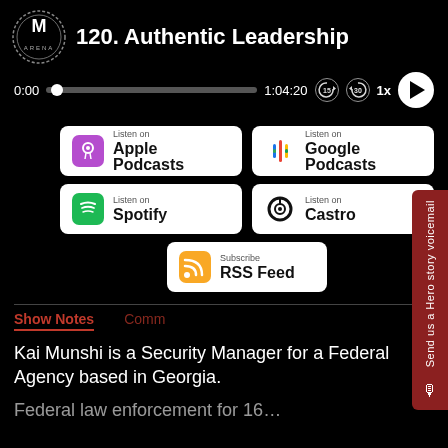120. Authentic Leadership
[Figure (screenshot): Podcast audio player controls showing time 0:00 to 1:04:20 with progress bar, skip 15s, skip 30s, 1x speed, and play button]
[Figure (infographic): Four podcast platform listen buttons: Apple Podcasts, Google Podcasts, Spotify, Castro, plus RSS Feed subscribe button]
Show Notes
Kai Munshi is a Security Manager for a Federal Agency based in Georgia.